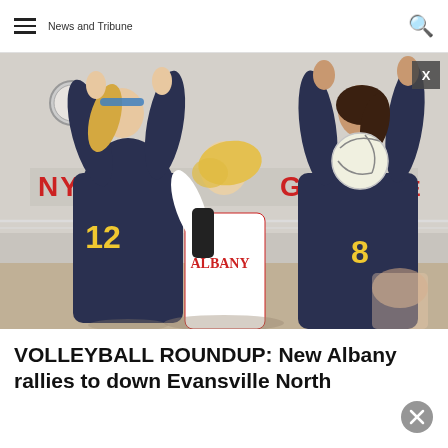News and Tribune
[Figure (photo): A volleyball player in a white uniform attempts a spike through the net while two opposing players in dark uniforms (numbers 12 and 8) jump to block. A banner reading 'ANY BULLDOGS' is visible in the background of a gymnasium.]
VOLLEYBALL ROUNDUP: New Albany rallies to down Evansville North